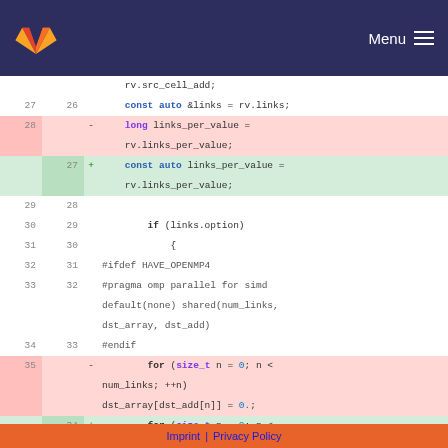GitLab logo | Menu
[Figure (screenshot): Code diff view showing C++ source code changes. Lines 27-35 on left (old), lines 26-34 on right (new). Removed lines shown in red background, added lines in green background.]
Imprint | Privacy Policy